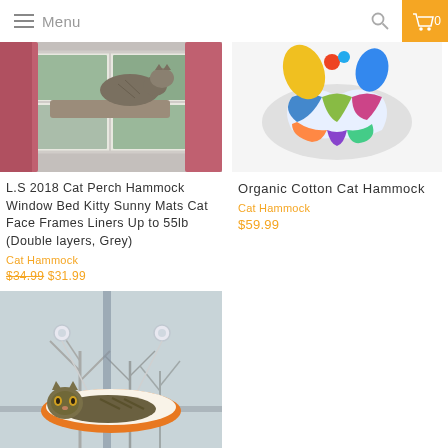Menu
[Figure (photo): Cat lying in a window hammock – grey tabby on a cat window bed with curtains visible, view to outside garden]
L.S 2018 Cat Perch Hammock Window Bed Kitty Sunny Mats Cat Face Frames Liners Up to 55lb (Double layers, Grey)
Cat Hammock
$34.99  $31.99
[Figure (photo): Colorful fabric cat hammock – artistic multicolored cat hammock product shot on white background]
Organic Cotton Cat Hammock
Cat Hammock
$59.99
[Figure (photo): Cat in a window-mounted hammock – tabby cat resting in an orange suction-cup window cat bed, winter trees visible through window]